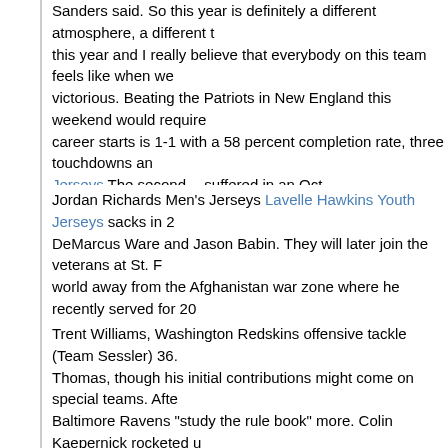Sanders said.  So this year is definitely a different atmosphere, a different t... this year and I really believe that everybody on this team feels like when we... victorious.  Beating the Patriots in New England this weekend would require... career starts is 1-1 with a 58 percent completion rate, three touchdowns an... Jerseys  The second -- suffered in an Oct.
Jordan Richards Men's Jerseys Lavelle Hawkins Youth Jerseys  sacks in 2... DeMarcus Ware and Jason Babin.  They will later join the veterans at St. F... world away from the Afghanistan war zone where he recently served for 20... helicopter.   Bull----," Ryan told the New York Post.
Trent Williams, Washington Redskins offensive tackle (Team Sessler)  36. Thomas, though his initial contributions might come on special teams.  Afte... Baltimore Ravens "study the rule book" more.  Colin Kaepernick rocketed u... story about Jim Harbaugh lifting Alex Smith to the realm of respectable star... contract with Patriots last August.
Ted Karras Women's Jerseys Finley probably will need that long-awaited ca... 2014, but he'll have his chance to make another title run with Aaron Rodger... Jerseys  Coach Jeff Fisher confirmed that Quick is out for the year, adding ... injury to his shoulder.  He had a rally planned later in Las Vegas, as well as... favoured in the first round against the Flyers (1/2) by about the same amou... Ottawa or the second-seeded Bruins against Washington (both 10/23) or W... (10/21).
We'll take that, but at the same time we have to have other elements of our... rebuilding project, but they have a lot of work to do.   Barkevious Mingo Me... care less about people on the outside looking in.  Had the Saints not gone...